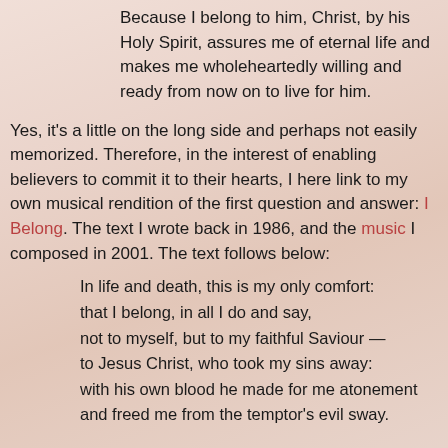Because I belong to him, Christ, by his Holy Spirit, assures me of eternal life and makes me wholeheartedly willing and ready from now on to live for him.
Yes, it's a little on the long side and perhaps not easily memorized. Therefore, in the interest of enabling believers to commit it to their hearts, I here link to my own musical rendition of the first question and answer: I Belong. The text I wrote back in 1986, and the music I composed in 2001. The text follows below:
In life and death, this is my only comfort:
that I belong, in all I do and say,
not to myself, but to my faithful Saviour —
to Jesus Christ, who took my sins away:
with his own blood he made for me atonement
and freed me from the temptor's evil sway.
The Lord provides, for he is very gracious:
he watches over me, therefore I know...